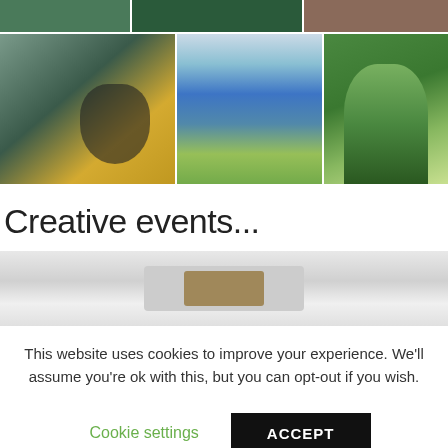[Figure (photo): Top row of three artwork/nature photos: a dark green artwork, a forest/nature scene, and a garden/landscape photo.]
[Figure (photo): Middle row of three artwork photos: a painting of a person lying down with yellow garment, stained glass / mixed media blue-green abstract artwork, and a green tree/plant arrangement.]
Creative events...
[Figure (photo): Interior venue photo showing a white ceiling with a large rectangular air conditioning unit and recessed lights.]
This website uses cookies to improve your experience. We'll assume you're ok with this, but you can opt-out if you wish.
Cookie settings   ACCEPT